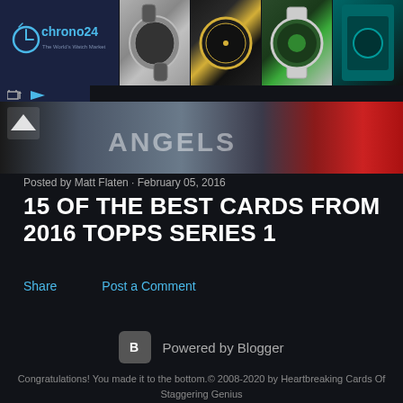[Figure (screenshot): Chrono24 advertisement banner with logo on left and four watch images on right]
[Figure (photo): Hero image strip showing baseball-related imagery with Angels text and red accent, with up arrow navigation button]
Posted by Matt Flaten · February 05, 2016
15 OF THE BEST CARDS FROM 2016 TOPPS SERIES 1
Share   Post a Comment
[Figure (logo): Powered by Blogger logo and text]
Congratulations! You made it to the bottom.© 2008-2020 by Heartbreaking Cards Of Staggering Genius